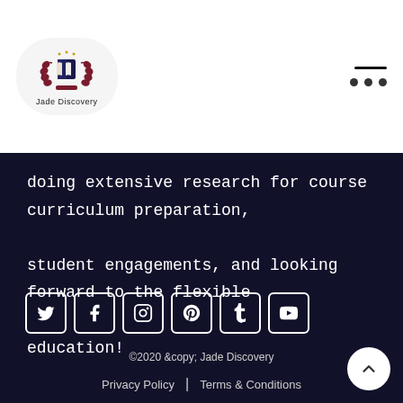[Figure (logo): Jade Discovery logo with a book and laurel wreath icon on a pill-shaped light grey background]
doing extensive research for course curriculum preparation, student engagements, and looking forward to the flexible education!
[Figure (infographic): Social media icons: Twitter, Facebook, Instagram, Pinterest, Tumblr, YouTube — each in a rounded square border]
©2020 &copy; Jade Discovery
Privacy Policy | Terms & Conditions